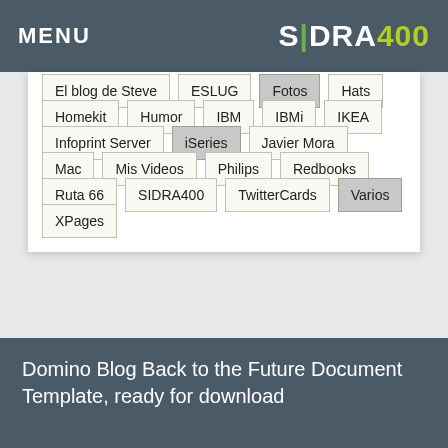MENU | SIDRA400
El blog de Steve
ESLUG
Fotos
Hats
Homekit
Humor
IBM
IBMi
IKEA
Infoprint Server
iSeries
Javier Mora
Mac
Mis Videos
Philips
Redbooks
Ruta 66
SIDRA400
TwitterCards
Varios
XPages
Domino Blog Back to the Future Document Template, ready for download